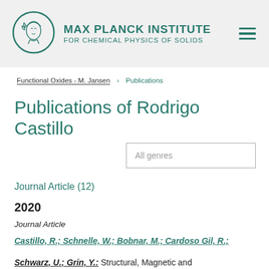MAX PLANCK INSTITUTE FOR CHEMICAL PHYSICS OF SOLIDS
Functional Oxides - M. Jansen  Publications
Publications of Rodrigo Castillo
All genres
Journal Article (12)
2020
Journal Article
Castillo, R.; Schnelle, W.; Bobnar, M.; Cardoso Gil, R.; Schwarz, U.; Grin, Y.: Structural, Magnetic and